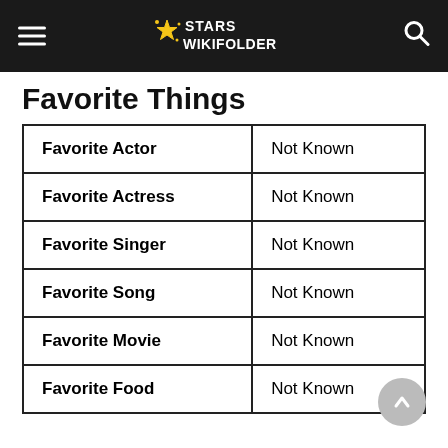Stars Wikifolder
Favorite Things
|  |  |
| --- | --- |
| Favorite Actor | Not Known |
| Favorite Actress | Not Known |
| Favorite Singer | Not Known |
| Favorite Song | Not Known |
| Favorite Movie | Not Known |
| Favorite Food | Not Known |